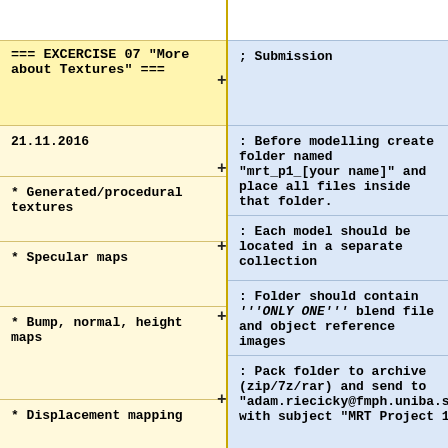=== EXCERCISE 07 "More about Textures" ===
; Submission
21.11.2016
: Before modelling create folder named "mrt_p1_[your name]" and place all files inside that folder.
* Generated/procedural textures
: Each model should be located in a separate collection
* Specular maps
: Folder should contain '''ONLY ONE''' blend file and object reference images
* Bump, normal, height maps
: Pack folder to archive (zip/7z/rar) and send to "adam.riecicky@fmph.uniba.sk" with subject "MRT Project 1"
* Displacement mapping